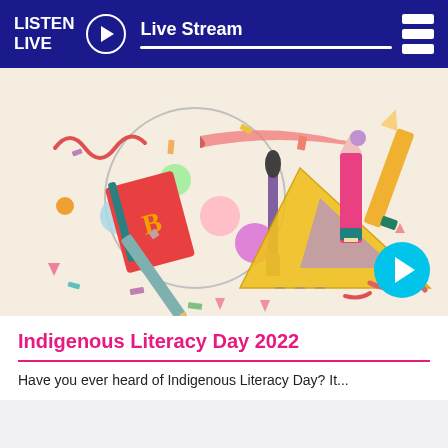LISTEN LIVE  Live Stream
[Figure (illustration): Colorful illustrated artwork showing school/art supplies including books, pencils, crayons, rulers, a paintbrush, and circular paint palette swatches scattered on a light beige background, with a play button overlay in the bottom right corner.]
Indigenous Literacy Day 2022
Have you ever heard of Indigenous Literacy Day? It...